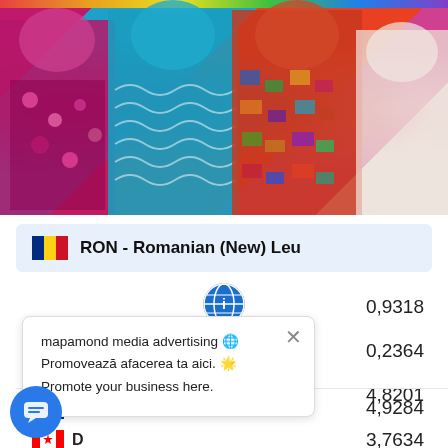[Figure (photo): Colorful traditional ethnic clothing/textiles worn by people, showing vibrant patterns in pink/magenta, turquoise blue, red/orange, and multicolor fabrics. A rainbow-colored bar is visible at the top.]
RON - Romanian (New) Leu
0,9318
0,2364
4,8201
mapamond media advertising
Promovează afacerea ta aici.
Promote your business here.
EUR
4,9284
D
3,7634